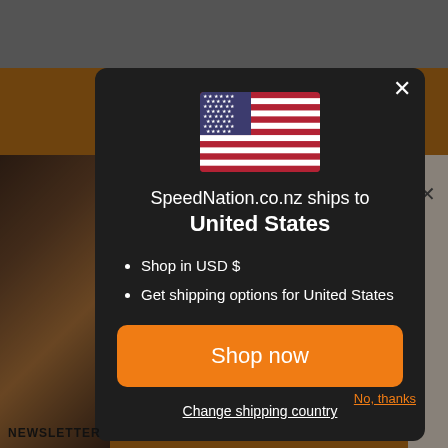[Figure (screenshot): Website popup modal on SpeedNation.co.nz showing a US flag, shipping destination notice for United States, bullet points for USD shopping and shipping options, and an orange Shop now button with a Change shipping country link.]
SpeedNation.co.nz ships to
United States
Shop in USD $
Get shipping options for United States
Shop now
Change shipping country
No, thanks
NEWSLETTER